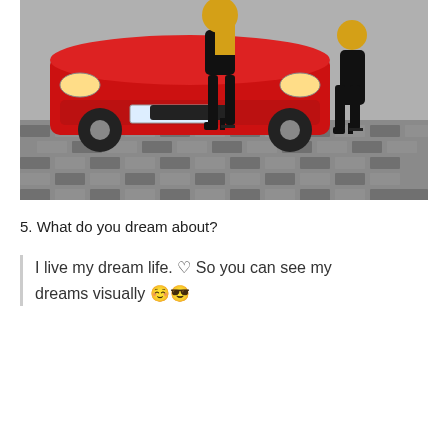[Figure (photo): A woman in black outfit and high heels posing in front of a red sports car on a cobblestone pavement]
5. What do you dream about?
I live my dream life. ♡ So you can see my dreams visually 😊😎